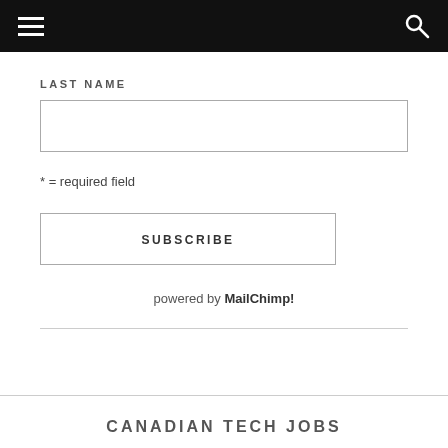[Figure (other): Black navigation bar with hamburger menu icon on left and search icon on right]
LAST NAME
[Figure (other): Empty text input field for last name]
* = required field
[Figure (other): SUBSCRIBE button with border]
powered by MailChimp!
CANADIAN TECH JOBS